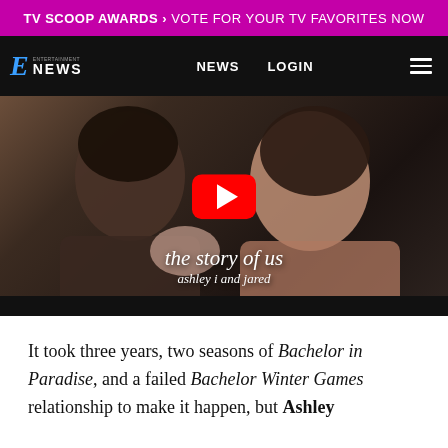TV SCOOP AWARDS > Vote For Your TV Favorites Now
E NEWS | NEWS | LOGIN
[Figure (screenshot): YouTube video thumbnail showing a couple embracing with text overlay 'the story of us / ashley i and jared' and a YouTube play button in the center]
It took three years, two seasons of Bachelor in Paradise, and a failed Bachelor Winter Games relationship to make it happen, but Ashley